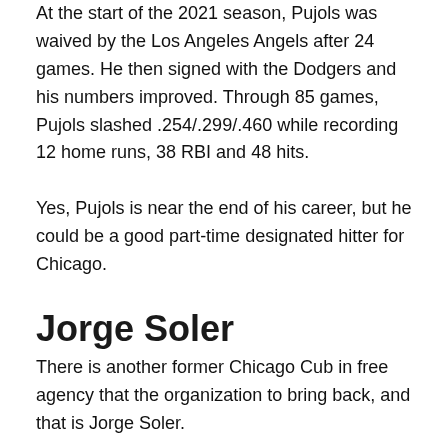At the start of the 2021 season, Pujols was waived by the Los Angeles Angels after 24 games. He then signed with the Dodgers and his numbers improved. Through 85 games, Pujols slashed .254/.299/.460 while recording 12 home runs, 38 RBI and 48 hits.
Yes, Pujols is near the end of his career, but he could be a good part-time designated hitter for Chicago.
Jorge Soler
There is another former Chicago Cub in free agency that the organization to bring back, and that is Jorge Soler.
The outfielder made his MLB debut debut with the Cubs in 2014 and spent a total of three seasons with the team. After the 2016 season, Chicago traded Soler to the Kansas City Royals in exchange for relief pitcher Wade Davis. In